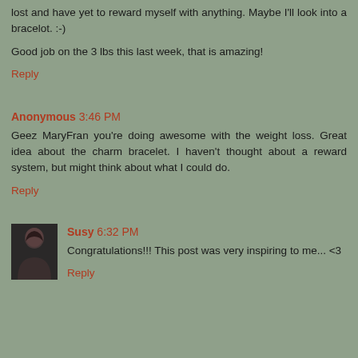lost and have yet to reward myself with anything. Maybe I'll look into a bracelot. :-)
Good job on the 3 lbs this last week, that is amazing!
Reply
Anonymous 3:46 PM
Geez MaryFran you're doing awesome with the weight loss. Great idea about the charm bracelet. I haven't thought about a reward system, but might think about what I could do.
Reply
Susy 6:32 PM
Congratulations!!! This post was very inspiring to me... <3
Reply